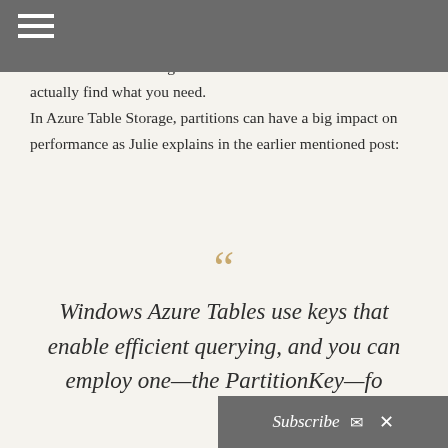It does wonderful things in terms of the time it takes to actually find what you need.
In Azure Table Storage, partitions can have a big impact on performance as Julie explains in the earlier mentioned post:
““
Windows Azure Tables use keys that enable efficient querying, and you can employ one—the PartitionKey—fo
Subscribe